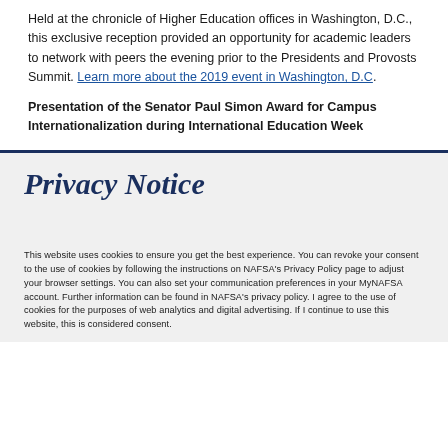Held at the chronicle of Higher Education offices in Washington, D.C., this exclusive reception provided an opportunity for academic leaders to network with peers the evening prior to the Presidents and Provosts Summit. Learn more about the 2019 event in Washington, D.C.
Presentation of the Senator Paul Simon Award for Campus Internationalization during International Education Week
Privacy Notice
This website uses cookies to ensure you get the best experience. You can revoke your consent to the use of cookies by following the instructions on NAFSA's Privacy Policy page to adjust your browser settings. You can also set your communication preferences in your MyNAFSA account. Further information can be found in NAFSA's privacy policy. I agree to the use of cookies for the purposes of web analytics and digital advertising. If I continue to use this website, this is considered consent.